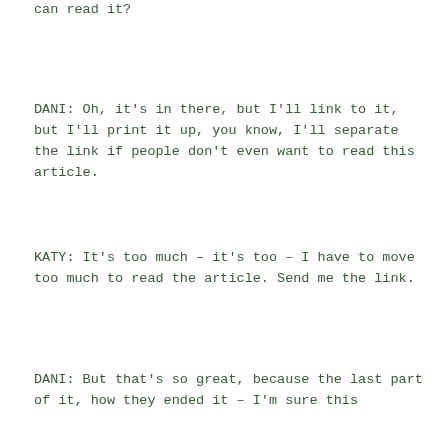can read it?
DANI: Oh, it's in there, but I'll link to it, but I'll print it up, you know, I'll separate the link if people don't even want to read this article.
KATY: It's too much – it's too – I have to move too much to read the article. Send me the link.
DANI: But that's so great, because the last part of it, how they ended it – I'm sure this